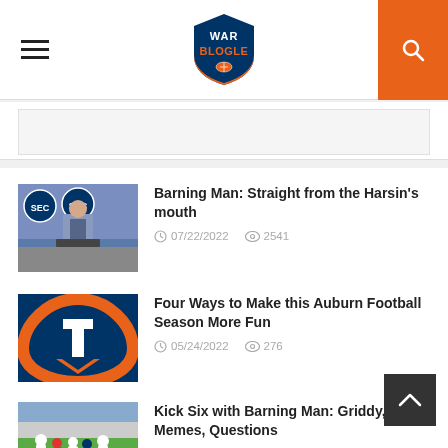War Blogle
[Figure (other): Advertisement banner area]
Barning Man: Straight from the Harsin's mouth — 07/22/2022 — 2541 views
Four Ways to Make this Auburn Football Season More Fun — 05/24/2022 — 276 views
Kick Six with Barning Man: Griddy, Memes, Questions — 04/05/2022 — 1525 views